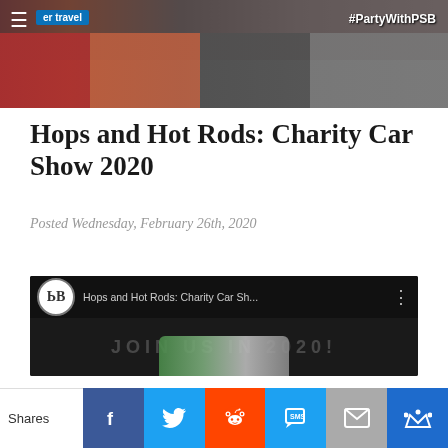[Figure (photo): Top banner photo showing people at an event with a hamburger menu icon, 'er travel' badge, and '#PartyWithPSB' hashtag overlay]
Hops and Hot Rods: Charity Car Show 2020
Posted Wednesday, February 26th, 2020
[Figure (screenshot): Embedded YouTube-style video thumbnail with logo, title 'Hops and Hot Rods: Charity Car Sh...' and 'JOIN US IN 2020!' overlay text with car thumbnail]
Shares | Facebook | Twitter | Reddit | SMS | Email | Crown